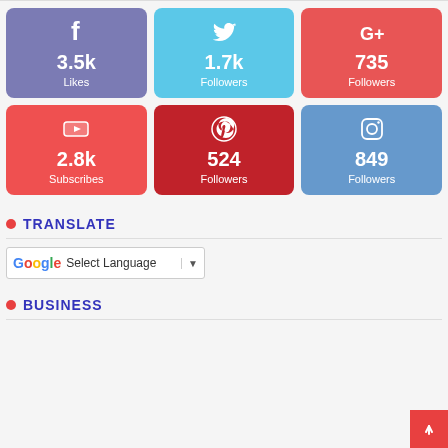[Figure (infographic): Social media stats grid: Facebook 3.5k Likes (purple), Twitter 1.7k Followers (light blue), Google+ 735 Followers (red), YouTube 2.8k Subscribes (red), Pinterest 524 Followers (dark red), Instagram 849 Followers (steel blue)]
TRANSLATE
[Figure (other): Google Translate widget with 'Select Language' dropdown]
BUSINESS